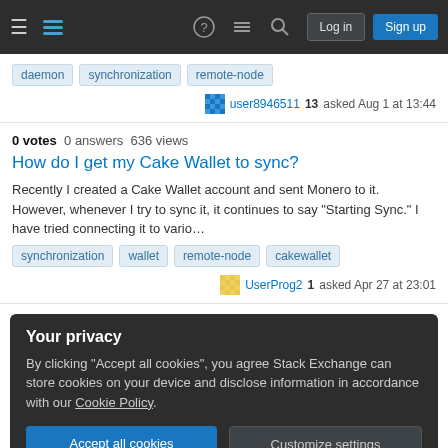Stack Exchange navigation bar with Log in and Sign up buttons
daemon  synchronization  remote-node
user8946511 13 asked Aug 1 at 13:44
0 votes  0 answers  636 views
How do I get my Cake Wallet to sync?
Recently I created a Cake Wallet account and sent Monero to it. However, whenever I try to sync it, it continues to say "Starting Sync." I have tried connecting it to vario…
synchronization  wallet  remote-node  cakewallet
UserProg2 1 asked Apr 27 at 23:01
Your privacy
By clicking "Accept all cookies", you agree Stack Exchange can store cookies on your device and disclose information in accordance with our Cookie Policy.
Accept all cookies  Customize settings